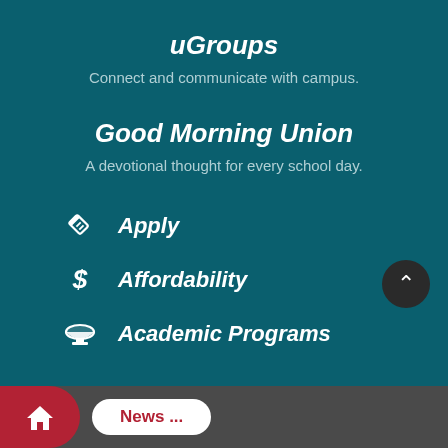uGroups
Connect and communicate with campus.
Good Morning Union
A devotional thought for every school day.
Apply
Affordability
Academic Programs
News ...